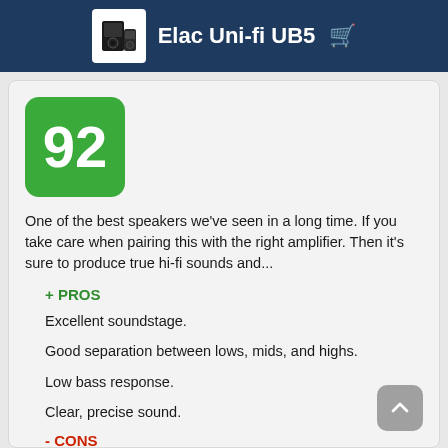Elac Uni-fi UB5
[Figure (other): Score badge: green rounded square with number 92]
One of the best speakers we've seen in a long time. If you take care when pairing this with the right amplifier. Then it's sure to produce true hi-fi sounds and...
+ PROS
Excellent soundstage.
Good separation between lows, mids, and highs.
Low bass response.
Clear, precise sound.
- CONS